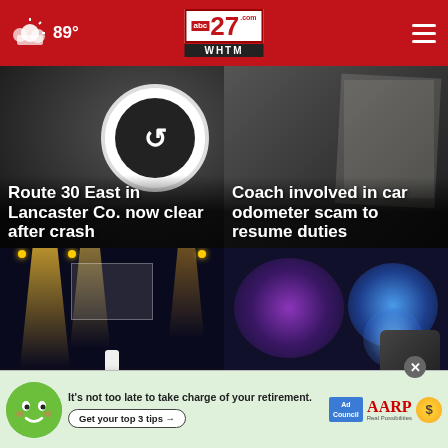abc27 WHTM - 89°
[Figure (screenshot): News card: Route 30 East in Lancaster Co. now clear after crash - dark background with circular highway sign]
[Figure (screenshot): News card: Coach involved in car odometer scam to resume duties - dark background]
[Figure (screenshot): News card: Bag policies for Hershey Entertainment venues - concert/stage photo at night with crowd]
[Figure (screenshot): News card: Man cited for pointing gun at road rage incident - police lights blue and purple bokeh]
[Figure (screenshot): Ad banner: It's not too late to take charge of your retirement. Get your top 3 tips. Ad Council + AARP Real Possibilities]